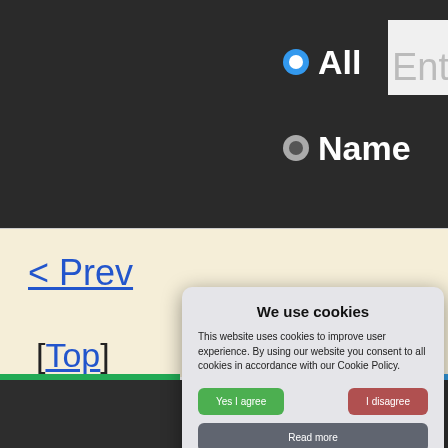[Figure (screenshot): Dark header area with radio buttons labeled 'All' and 'Name', and a partial text input field showing 'Ent']
< Prev
[Top]
[Figure (screenshot): Cookie consent dialog overlay with title 'We use cookies', body text, 'Yes I agree' and 'I disagree' buttons, 'Read more' button, and footer text 'Free cookie consent by cookie-script.com']
Home